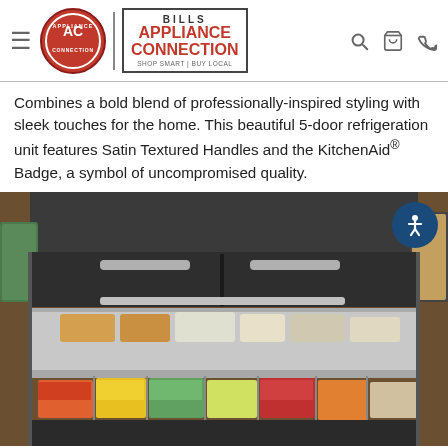Bills Appliance Connection — navigation header with logo, search, cart, phone icons
Combines a bold blend of professionally-inspired styling with sleek touches for the home. This beautiful 5-door refrigeration unit features Satin Textured Handles and the KitchenAid® Badge, a symbol of uncompromised quality.
[Figure (photo): Open 5-door refrigerator drawers viewed from above showing organized food items including produce, packaged goods, and containers in stainless-steel pull-out drawers on a wood surface background.]